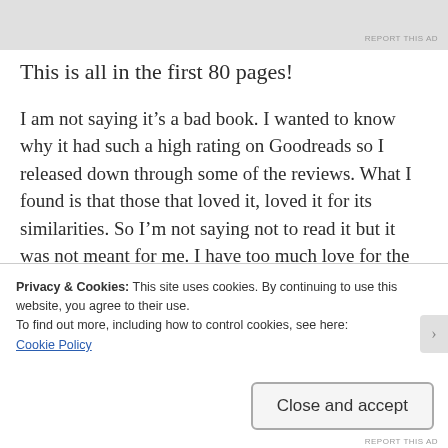[Figure (other): Gray advertisement banner at top of page]
REPORT THIS AD
This is all in the first 80 pages!
I am not saying it’s a bad book. I wanted to know why it had such a high rating on Goodreads so I released down through some of the reviews. What I found is that those that loved it, loved it for its similarities. So I’m not saying not to read it but it was not meant for me. I have too much love for the world of Harry Potter and for me there is just too much we borrowed.
Privacy & Cookies: This site uses cookies. By continuing to use this website, you agree to their use.
To find out more, including how to control cookies, see here:
Cookie Policy
Close and accept